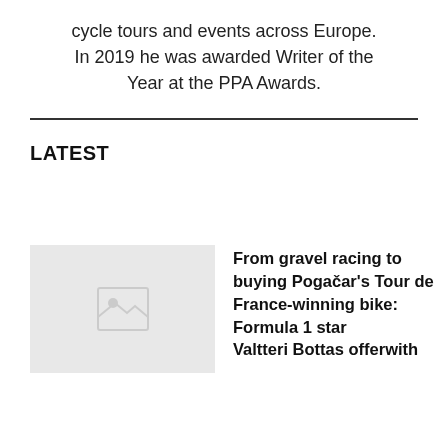cycle tours and events across Europe. In 2019 he was awarded Writer of the Year at the PPA Awards.
LATEST
[Figure (photo): Thumbnail placeholder image with broken image icon]
From gravel racing to buying Pogačar's Tour de France-winning bike: Formula 1 star [continues]